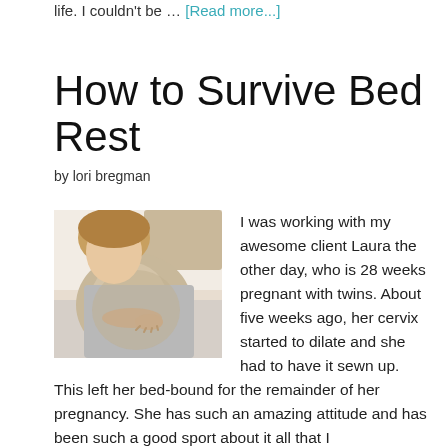life. I couldn't be … [Read more...]
How to Survive Bed Rest
by lori bregman
[Figure (photo): Pregnant woman lying in bed holding her belly, wearing a grey top]
I was working with my awesome client Laura the other day, who is 28 weeks pregnant with twins. About five weeks ago, her cervix started to dilate and she had to have it sewn up. This left her bed-bound for the remainder of her pregnancy. She has such an amazing attitude and has been such a good sport about it all that I